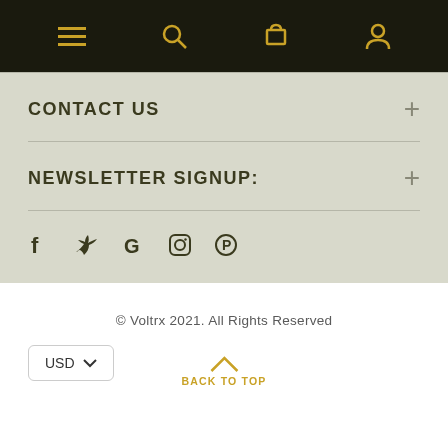Navigation bar with menu, search, cart, and account icons
CONTACT US
NEWSLETTER SIGNUP:
[Figure (other): Social media icons row: Facebook, Twitter, Google, Instagram, Pinterest]
© Voltrx 2021. All Rights Reserved
USD currency selector dropdown
BACK TO TOP